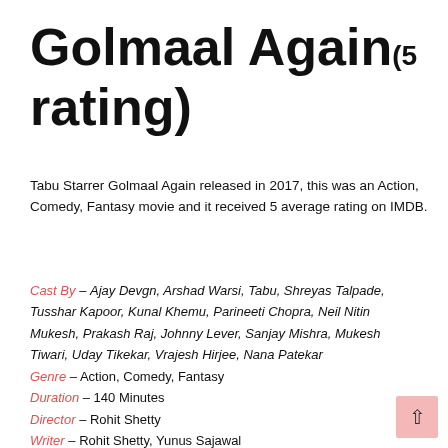Golmaal Again(5 rating)
Tabu Starrer Golmaal Again released in 2017, this was an Action, Comedy, Fantasy movie and it received 5 average rating on IMDB.
Cast By – Ajay Devgn, Arshad Warsi, Tabu, Shreyas Talpade, Tusshar Kapoor, Kunal Khemu, Parineeti Chopra, Neil Nitin Mukesh, Prakash Raj, Johnny Lever, Sanjay Mishra, Mukesh Tiwari, Uday Tikekar, Vrajesh Hirjee, Nana Patekar
Genre – Action, Comedy, Fantasy
Duration – 140 Minutes
Director – Rohit Shetty
Writer – Rohit Shetty, Yunus Sajawal
Production Company – Mangal Murti Films
Released Date – Friday, October 20, 2017
Budget –